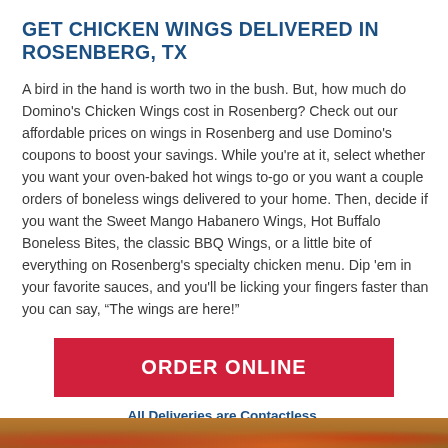GET CHICKEN WINGS DELIVERED IN ROSENBERG, TX
A bird in the hand is worth two in the bush. But, how much do Domino's Chicken Wings cost in Rosenberg? Check out our affordable prices on wings in Rosenberg and use Domino's coupons to boost your savings. While you're at it, select whether you want your oven-baked hot wings to-go or you want a couple orders of boneless wings delivered to your home. Then, decide if you want the Sweet Mango Habanero Wings, Hot Buffalo Boneless Bites, the classic BBQ Wings, or a little bite of everything on Rosenberg's specialty chicken menu. Dip 'em in your favorite sauces, and you'll be licking your fingers faster than you can say, “The wings are here!”
ORDER ONLINE
All Deliveries are Contactless.
[Figure (photo): Food image at bottom of page showing chicken wings]